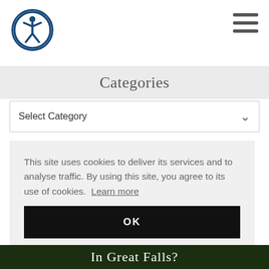[Figure (logo): Accessibility icon: person in circle with dark blue border]
[Figure (other): Hamburger menu icon: three horizontal lines]
Categories
Select Category
This site uses cookies to deliver its services and to analyse traffic. By using this site, you agree to its use of cookies.  Learn more
OK
[Figure (photo): Bottom image strip showing text 'In Great Falls?']